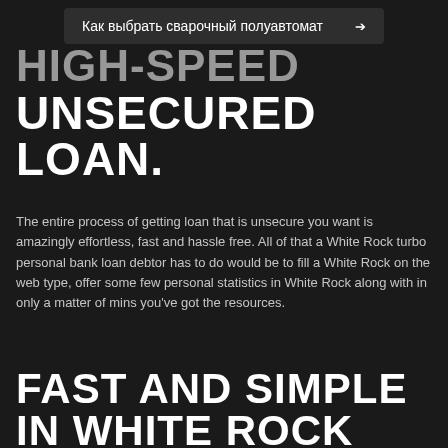Как выбрать сварочный полуавтомат
HIGH-SPEED UNSECURED LOAN.
The entire process of getting loan that is unsecure you want is amazingly effortless, fast and hassle free. All of that a White Rock turbo personal bank loan debtor has to do would be to fill a White Rock on the web type, offer some few personal statistics in White Rock along with in only a matter of mins you've got the resources.
FAST AND SIMPLE IN WHITE ROCK
One of many items that troubles individuals in White Rock in terms of receiving White Rock temporary funds